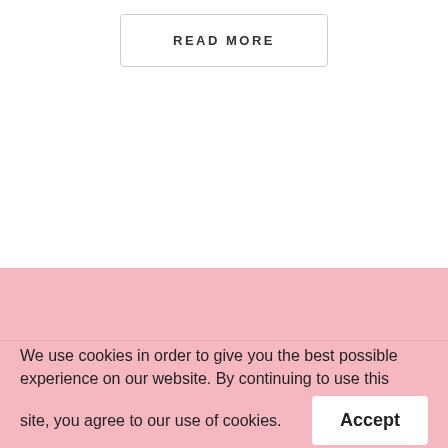READ MORE
POWERED BY WORDPRESS. FOODICA WORDPRESS THEME BY WPZOOM.
We use cookies in order to give you the best possible experience on our website. By continuing to use this site, you agree to our use of cookies.
Accept